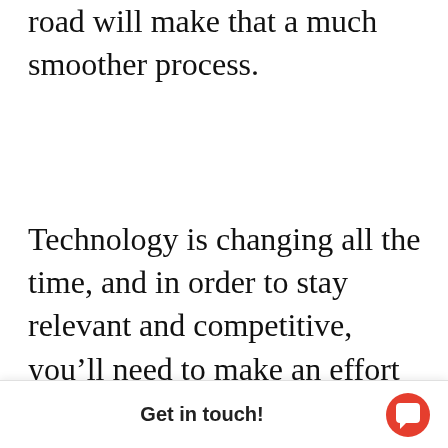road will make that a much smoother process.
Technology is changing all the time, and in order to stay relevant and competitive, you'll need to make an effort to keep up. The best way to make sure you're making the right investments and budgeting wisely for your business' technology is to speak with a knowledgeable and experienc
Get in touch!